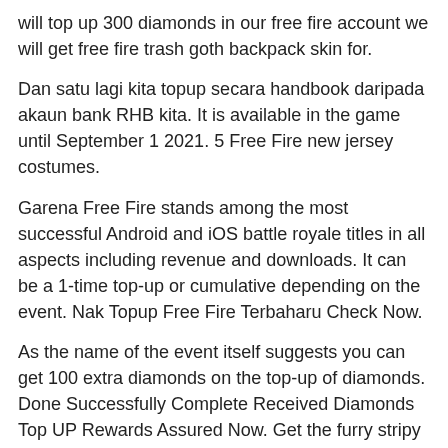will top up 300 diamonds in our free fire account we will get free fire trash goth backpack skin for.
Dan satu lagi kita topup secara handbook daripada akaun bank RHB kita. It is available in the game until September 1 2021. 5 Free Fire new jersey costumes.
Garena Free Fire stands among the most successful Android and iOS battle royale titles in all aspects including revenue and downloads. It can be a 1-time top-up or cumulative depending on the event. Nak Topup Free Fire Terbaharu Check Now.
As the name of the event itself suggests you can get 100 extra diamonds on the top-up of diamonds. Done Successfully Complete Received Diamonds Top UP Rewards Assured Now. Get the furry stripy friend and complete the Tig collection with its skins and emote.
Free Fire New Event Free Fire Next TopUp Event India Server 2021 August Free Fire Upcoming TopUp1. Kali ni saya share cara yang pertama iaitu cara topup paypal ketika kita login akaun paypal. Free